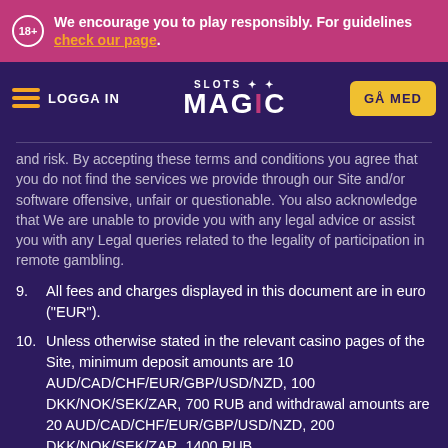We encourage you to play responsibly. For guidelines check our page.
[Figure (logo): SlotsMagic logo with navigation bar showing LOGGA IN on left and GÅ MED button on right]
and risk. By accepting these terms and conditions you agree that you do not find the services we provide through our Site and/or software offensive, unfair or questionable. You also acknowledge that We are unable to provide you with any legal advice or assist you with any Legal queries related to the legality of participation in remote gambling.
9. All fees and charges displayed in this document are in euro ("EUR").
10. Unless otherwise stated in the relevant casino pages of the Site, minimum deposit amounts are 10 AUD/CAD/CHF/EUR/GBP/USD/NZD, 100 DKK/NOK/SEK/ZAR, 700 RUB and withdrawal amounts are 20 AUD/CAD/CHF/EUR/GBP/USD/NZD, 200 DKK/NOK/SEK/ZAR, 1400 RUB
11. We reserve the right to restrict access to all or certain parts